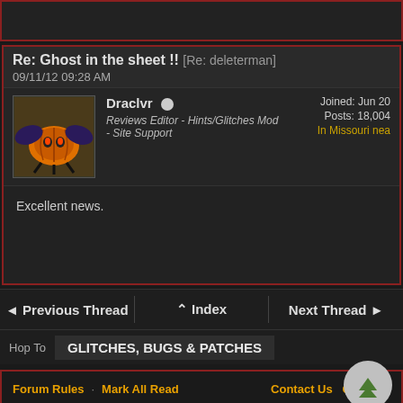Re: Ghost in the sheet !! [Re: deleterman] 09/11/12 09:28 AM
Draclvr
Reviews Editor - Hints/Glitches Mod - Site Support
Joined: Jun 20
Posts: 18,004
In Missouri nea
Excellent news.
◄ Previous Thread   ▲ Index   Next Thread ►
Hop To   GLITCHES, BUGS & PATCHES
Forum Rules · Mark All Read   Contact Us  GB HOM
Who's Online Now   Newest Members